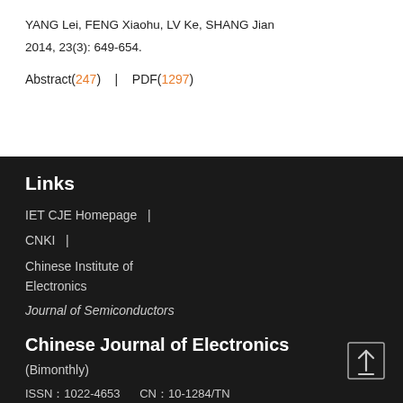YANG Lei, FENG Xiaohu, LV Ke, SHANG Jian
2014, 23(3): 649-654.
Abstract(247)   |   PDF(1297)
Links
IET CJE Homepage   |
CNKI   |
Chinese Institute of Electronics
Journal of Semiconductors
Chinese Journal of Electronics
(Bimonthly)
ISSN: 1022-4653     CN: 10-1284/TN